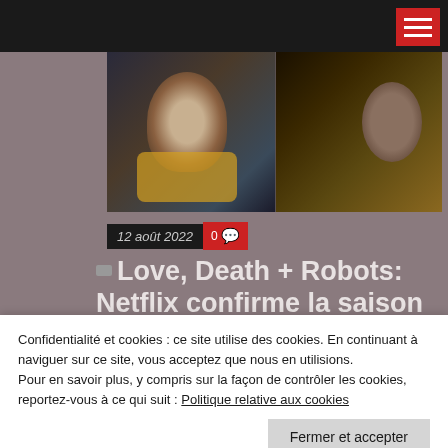[Figure (photo): Hero image split in two: left shows a person's face looking up wearing a yellow suit (sci-fi), right shows a dark action scene with warm orange tones. From Love, Death + Robots.]
12 août 2022  0 💬
Love, Death + Robots: Netflix confirme la saison 4
Par JEAN FRANCOIS CLOUTIER
Love, Death + Robots : Volume IV est produit
Confidentialité et cookies : ce site utilise des cookies. En continuant à naviguer sur ce site, vous acceptez que nous en utilisions. Pour en savoir plus, y compris sur la façon de contrôler les cookies, reportez-vous à ce qui suit : Politique relative aux cookies
Fermer et accepter
Dark Winds: une deuxième